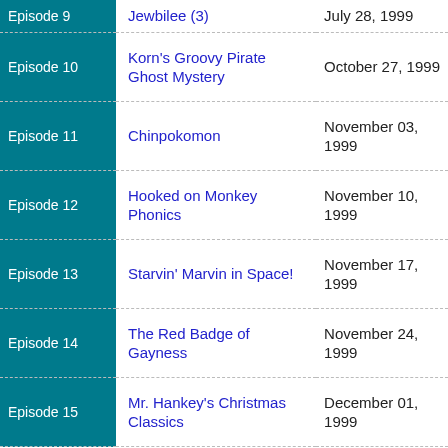| Episode | Title | Air Date |
| --- | --- | --- |
| Episode 9 | Jewbilee (3) | July 28, 1999 |
| Episode 10 | Korn's Groovy Pirate Ghost Mystery | October 27, 1999 |
| Episode 11 | Chinpokomon | November 03, 1999 |
| Episode 12 | Hooked on Monkey Phonics | November 10, 1999 |
| Episode 13 | Starvin' Marvin in Space! | November 17, 1999 |
| Episode 14 | The Red Badge of Gayness | November 24, 1999 |
| Episode 15 | Mr. Hankey's Christmas Classics | December 01, 1999 |